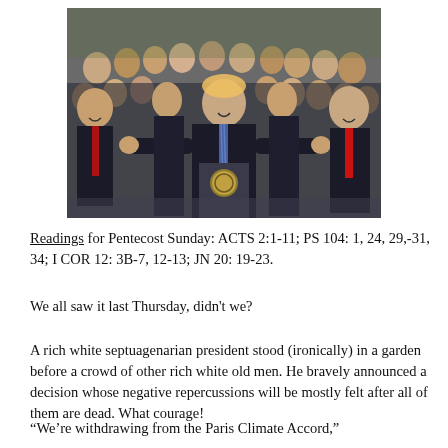[Figure (photo): A crowd of men in dark suits gathered in what appears to be a garden or outdoor setting. A man stands at a podium with a presidential seal, arms outstretched, surrounded by smiling men including one with a red tie on the far right.]
Readings for Pentecost Sunday: ACTS 2:1-11; PS 104: 1, 24, 29,-31, 34; I COR 12: 3B-7, 12-13; JN 20: 19-23.
We all saw it last Thursday, didn't we?
A rich white septuagenarian president stood (ironically) in a garden before a crowd of other rich white old men. He bravely announced a decision whose negative repercussions will be mostly felt after all of them are dead. What courage!
“We’re withdrawing from the Paris Climate Accord,”